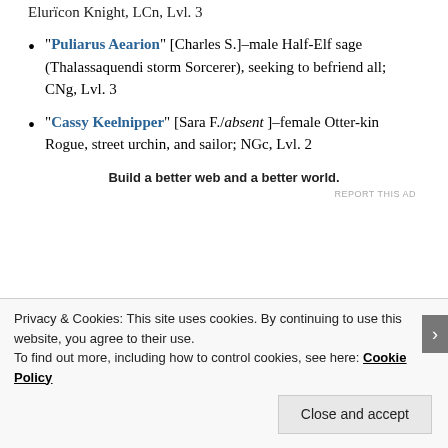Elurïcon Knight, LCn, Lvl. 3
“Puliarus Aearion” [Charles S.]–male Half-Elf sage (Thalassaquendi storm Sorcerer), seeking to befriend all; CNg, Lvl. 3
“Cassy Keelnipper” [Sara F./absent]–female Otter-kin Rogue, street urchin, and sailor; NGc, Lvl. 2
Build a better web and a better world.
REPORT THIS AD
Privacy & Cookies: This site uses cookies. By continuing to use this website, you agree to their use.
To find out more, including how to control cookies, see here: Cookie Policy